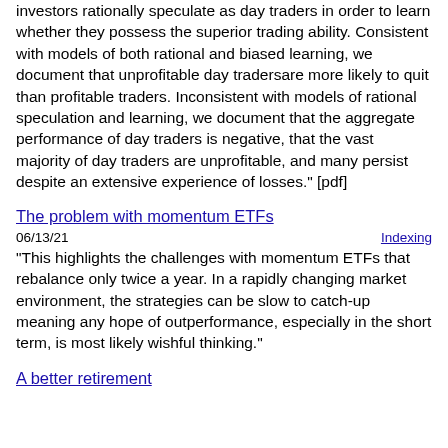investors rationally speculate as day traders in order to learn whether they possess the superior trading ability. Consistent with models of both rational and biased learning, we document that unprofitable day tradersare more likely to quit than profitable traders. Inconsistent with models of rational speculation and learning, we document that the aggregate performance of day traders is negative, that the vast majority of day traders are unprofitable, and many persist despite an extensive experience of losses." [pdf]
The problem with momentum ETFs
06/13/21   Indexing
"This highlights the challenges with momentum ETFs that rebalance only twice a year. In a rapidly changing market environment, the strategies can be slow to catch-up meaning any hope of outperformance, especially in the short term, is most likely wishful thinking."
A better retirement